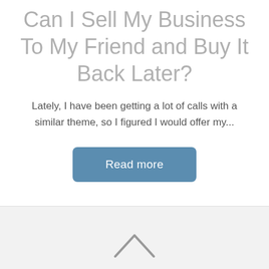Can I Sell My Business To My Friend and Buy It Back Later?
Lately, I have been getting a lot of calls with a similar theme, so I figured I would offer my...
Read more
[Figure (other): Upward chevron arrow icon indicating scroll to top]
▲ Back to top